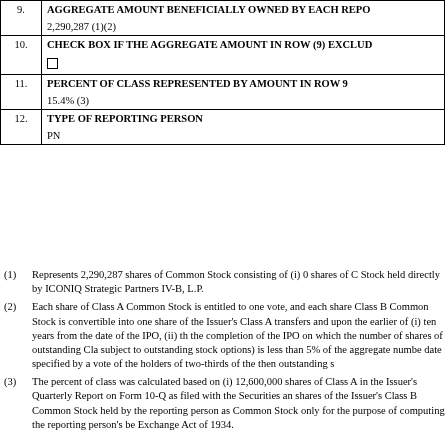| # | Field | Value |
| --- | --- | --- |
| 9. | AGGREGATE AMOUNT BENEFICIALLY OWNED BY EACH REPO... | 2,290,287 (1)(2) |
| 10. | CHECK BOX IF THE AGGREGATE AMOUNT IN ROW (9) EXCLUD... | ☐ |
| 11. | PERCENT OF CLASS REPRESENTED BY AMOUNT IN ROW 9 | 15.4% (3) |
| 12. | TYPE OF REPORTING PERSON | PN |
(1) Represents 2,290,287 shares of Common Stock consisting of (i) 0 shares of C... Stock held directly by ICONIQ Strategic Partners IV-B, L.P.
(2) Each share of Class A Common Stock is entitled to one vote, and each share... Class B Common Stock is convertible into one share of the Issuer's Class A... transfers and upon the earlier of (i) ten years from the date of the IPO, (ii) th... the completion of the IPO on which the number of shares of outstanding Cla... subject to outstanding stock options) is less than 5% of the aggregate numbe... date specified by a vote of the holders of two-thirds of the then outstanding s...
(3) The percent of class was calculated based on (i) 12,600,000 shares of Class A... in the Issuer's Quarterly Report on Form 10-Q as filed with the Securities an... shares of the Issuer's Class B Common Stock held by the reporting person as... Common Stock only for the purpose of computing the reporting person's be... Exchange Act of 1934.